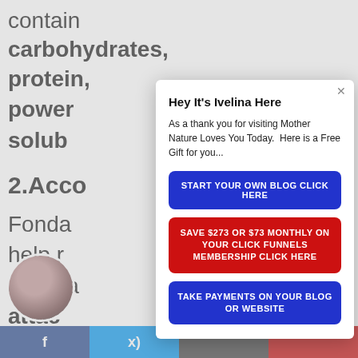contain carbohydrates, protein, power f... solub
2. Acco
Fonda help r as its a attac becu
[Figure (photo): Circular avatar photo of a woman]
[Figure (screenshot): Modal popup overlay with title 'Hey It's Ivelina Here', body text, and three call-to-action buttons: blue 'START YOUR OWN BLOG CLICK HERE', red 'SAVE $273 OR $73 MONTHLY ON YOUR CLICK FUNNELS MEMBERSHIP CLICK HERE', blue 'TAKE PAYMENTS ON YOUR BLOG OR WEBSITE']
Hey It's Ivelina Here
As a thank you for visiting Mother Nature Loves You Today.  Here is a Free Gift for you...
START YOUR OWN BLOG CLICK HERE
SAVE $273 OR $73 MONTHLY ON YOUR CLICK FUNNELS MEMBERSHIP CLICK HERE
TAKE PAYMENTS ON YOUR BLOG OR WEBSITE